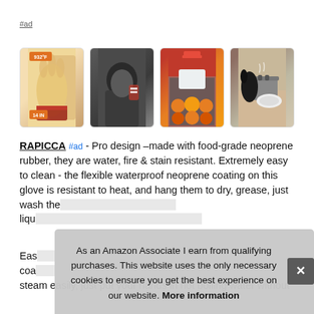#ad
[Figure (photo): Four product images in a row: (1) oven/BBQ glove showing 932°F rating and 14 IN size labels; (2) person wearing dark gloves outdoors; (3) baker in red hat handling pastries with gloves; (4) hand in glove next to a pot on stove.]
RAPICCA #ad - Pro design –made with food-grade neoprene rubber, they are water, fire & stain resistant. Extremely easy to clean - the flexible waterproof neoprene coating on this glove is resistant to heat, and hang them to dry, grease, just wash the [text obscured] liqui[d obscured]
Eas[y obscured] coa[ting obscured] steam easily, just put your hands in hot boiling water without
As an Amazon Associate I earn from qualifying purchases. This website uses the only necessary cookies to ensure you get the best experience on our website. More information